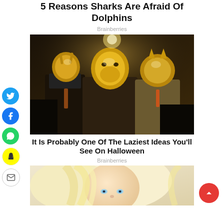5 Reasons Sharks Are Afraid Of Dolphins
Brainberries
[Figure (photo): Three people in formal suits wearing elaborate gold animal masks (deer, wolf/bear, and cat/fox) standing together in a dimly lit venue]
It Is Probably One Of The Laziest Ideas You'll See On Halloween
Brainberries
[Figure (photo): Close-up portrait of a blonde woman with blue eyes]